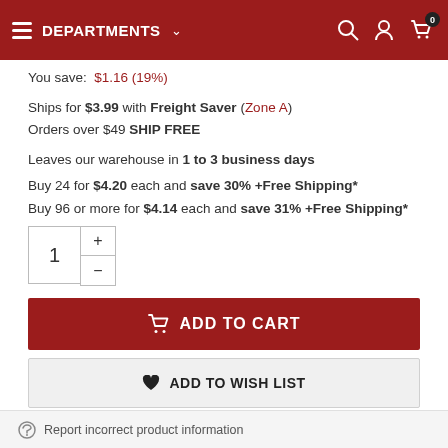DEPARTMENTS
You save: $1.16 (19%)
Ships for $3.99 with Freight Saver (Zone A)
Orders over $49 SHIP FREE
Leaves our warehouse in 1 to 3 business days
Buy 24 for $4.20 each and save 30% +Free Shipping*
Buy 96 or more for $4.14 each and save 31% +Free Shipping*
ADD TO CART
ADD TO WISH LIST
Report incorrect product information